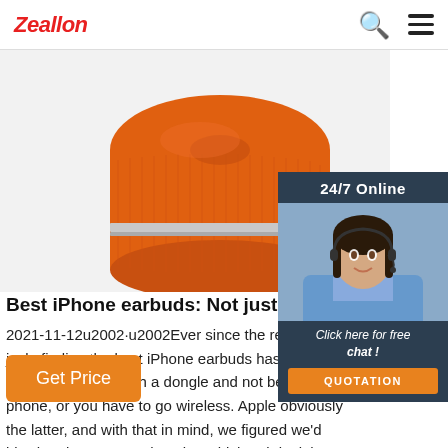Zeallon
[Figure (photo): Orange cylindrical Bluetooth speaker on white background, viewed from above/side angle showing fabric texture and metallic band]
[Figure (photo): 24/7 Online chat widget with female customer service representative wearing headset, smiling. Includes 'Click here for free chat!' text and orange QUOTATION button]
Best iPhone earbuds: Not just the AirPods -
2021-11-12u2002·u2002Ever since the removal of jack, finding the best iPhone earbuds has been a you have to deal with a dongle and not be able to phone, or you have to go wireless. Apple obviously the latter, and with that in mind, we figured we'd bit when it comes to choosing which pair is right
Get Price